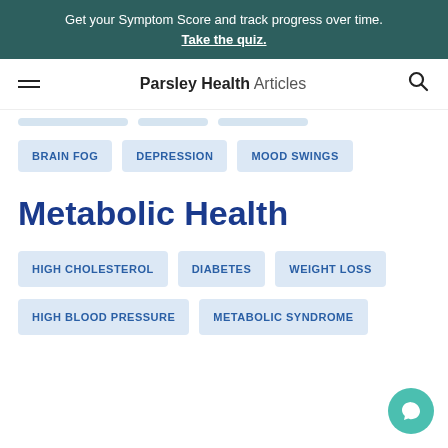Get your Symptom Score and track progress over time. Take the quiz.
Parsley Health Articles
BRAIN FOG
DEPRESSION
MOOD SWINGS
Metabolic Health
HIGH CHOLESTEROL
DIABETES
WEIGHT LOSS
HIGH BLOOD PRESSURE
METABOLIC SYNDROME